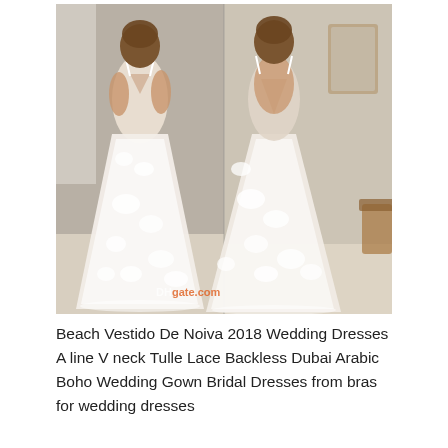[Figure (photo): Two views of a woman wearing a white A-line lace wedding gown with a V-neck, spaghetti straps, floral lace appliqués, and an open back. The left view shows the front of the dress and the right view shows the backless design. A DHgate.com watermark is visible in the lower center of the image.]
Beach Vestido De Noiva 2018 Wedding Dresses A line V neck Tulle Lace Backless Dubai Arabic Boho Wedding Gown Bridal Dresses from bras for wedding dresses